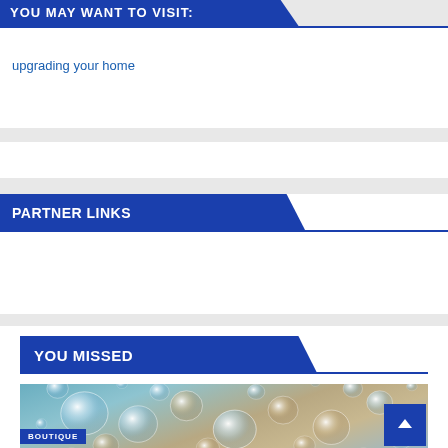YOU MAY WANT TO VISIT:
upgrading your home
PARTNER LINKS
YOU MISSED
[Figure (photo): Close-up photo of water droplets on a surface with blue and copper tones, with a BOUTIQUE label at bottom]
BOUTIQUE